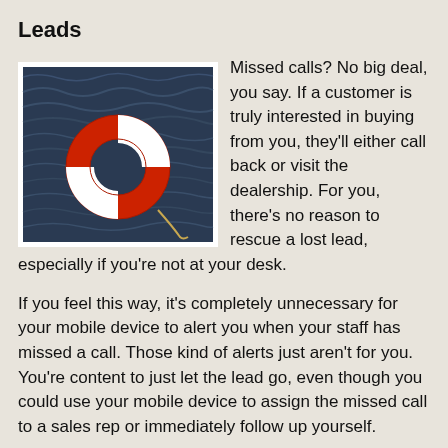Leads
[Figure (photo): A red and white life preserver ring floating on dark ocean water, attached to a rope.]
Missed calls? No big deal, you say. If a customer is truly interested in buying from you, they'll either call back or visit the dealership. For you, there's no reason to rescue a lost lead, especially if you're not at your desk.
If you feel this way, it's completely unnecessary for your mobile device to alert you when your staff has missed a call. Those kind of alerts just aren't for you. You're content to just let the lead go, even though you could use your mobile device to assign the missed call to a sales rep or immediately follow up yourself.